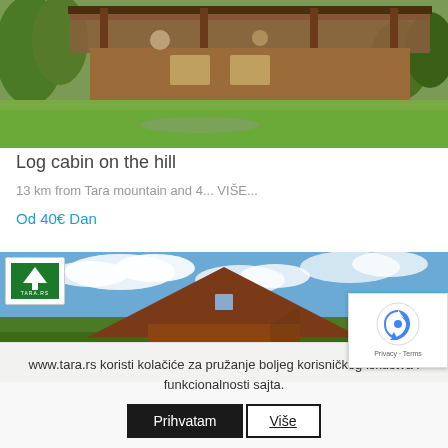[Figure (photo): Aerial/perspective view of a wooden log cabin with covered porch/terrace, surrounded by green trees and grass, mountain setting]
Log cabin on the hill
13 km from Tara mountain and 4... VIŠE...
Od 40€ Dan
[Figure (photo): A-frame wooden cabin with triangular roof against blue sky with clouds, forest in background, tara.rs logo visible in top left]
www.tara.rs koristi kolačiće za pružanje boljeg korisničkog iskustva i funkcionalnosti sajta.
Prihvatam
Više